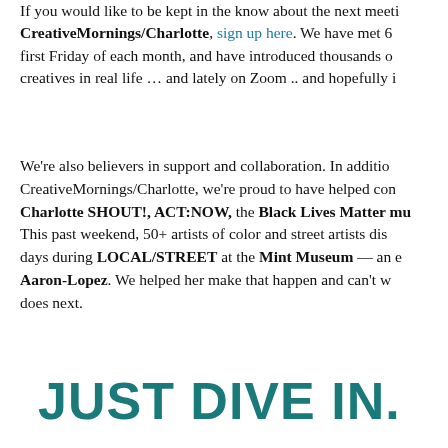If you would like to be kept in the know about the next meeting of CreativeMornings/Charlotte, sign up here. We have met 66 times, always the first Friday of each month, and have introduced thousands of Charlotte creatives in real life … and lately on Zoom .. and hopefully in person soon.
We're also believers in support and collaboration. In addition to running CreativeMornings/Charlotte, we're proud to have helped conceive of Charlotte SHOUT!, ACT:NOW, the Black Lives Matter mural project. This past weekend, 50+ artists of color and street artists displayed work for 3 days during LOCAL/STREET at the Mint Museum — an exhibition led by Aaron-Lopez. We helped her make that happen and can't wait to see what she does next.
JUST DIVE IN.
These are just a few ways to support the creative community and Charlotte Is Creative. There are many more. What's most important is getting involved. Don't admire the creative community from afar. Dive in. There's no "official" way to do it … no ring you need to kiss, no test you need to pass, no pedigree required.
If you see something that excites you, get started. Ask how you can help. It's as simple as extending your social capital to introduce a creative to someone who can help them or carrying buckets of paint for a mural artist. Once you start, you'll wonder why you waited and how you can do more.